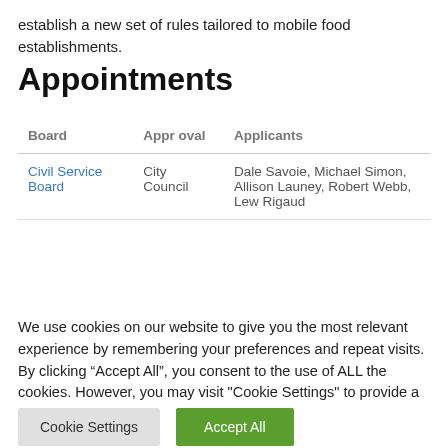establish a new set of rules tailored to mobile food establishments.
Appointments
| Board | Appr oval | Applicants |
| --- | --- | --- |
| Civil Service Board | City Council | Dale Savoie, Michael Simon, Allison Launey, Robert Webb, Lew Rigaud |
We use cookies on our website to give you the most relevant experience by remembering your preferences and repeat visits. By clicking “Accept All”, you consent to the use of ALL the cookies. However, you may visit "Cookie Settings" to provide a controlled consent.
Cookie Settings | Accept All